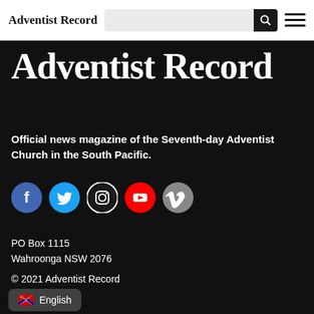Adventist Record
Adventist Record
Official news magazine of the Seventh-day Adventist Church in the South Pacific.
[Figure (infographic): Social media icons: Facebook (blue circle), Twitter (cyan circle), Instagram (dark outline circle), YouTube (red circle), Vimeo (gray circle)]
PO Box 1115
Wahroonga NSW 2076
© 2021 Adventist Record
🇦🇺 English